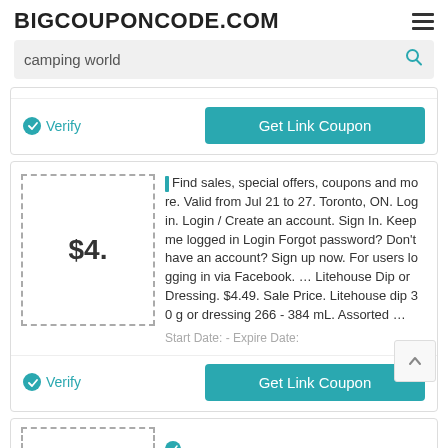BIGCOUPONCODE.COM
camping world
Verify   Get Link Coupon
[Figure (screenshot): Coupon card with dashed border showing $4. price]
Find sales, special offers, coupons and more. Valid from Jul 21 to 27. Toronto, ON. Log in. Login / Create an account. Sign In. Keep me logged in Login Forgot password? Don't have an account? Sign up now. For users logging in via Facebook. … Litehouse Dip or Dressing. $4.49. Sale Price. Litehouse dip 30 g or dressing 266 - 384 mL. Assorted …
Start Date: - Expire Date:
Verify   Get Link Coupon